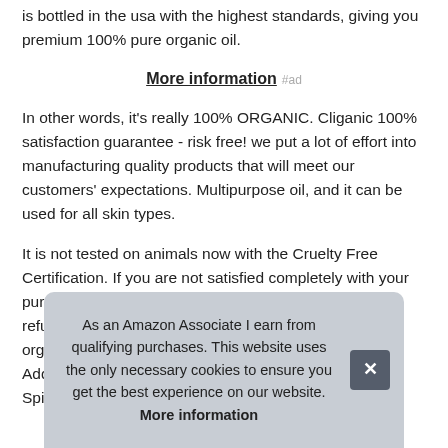is bottled in the usa with the highest standards, giving you premium 100% pure organic oil.
More information #ad
In other words, it's really 100% ORGANIC. Cliganic 100% satisfaction guarantee - risk free! we put a lot of effort into manufacturing quality products that will meet our customers' expectations. Multipurpose oil, and it can be used for all skin types.
It is not tested on animals now with the Cruelty Free Certification. If you are not satisfied completely with your purc refu orga Add Spir
As an Amazon Associate I earn from qualifying purchases. This website uses the only necessary cookies to ensure you get the best experience on our website. More information